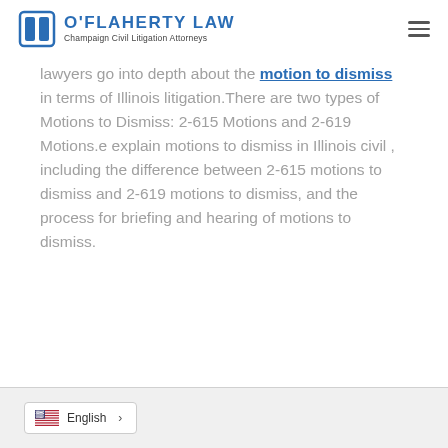O'Flaherty Law — Champaign Civil Litigation Attorneys
lawyers go into depth about the motion to dismiss in terms of Illinois litigation. There are two types of Motions to Dismiss: 2-615 Motions and 2-619 Motions.e explain motions to dismiss in Illinois civil , including the difference between 2-615 motions to dismiss and 2-619 motions to dismiss, and the process for briefing and hearing of motions to dismiss.
English